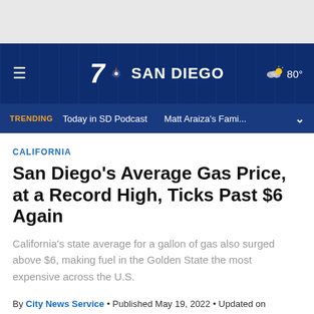7 NBC SAN DIEGO | 80°
TRENDING  Today in SD Podcast  Matt Araiza's Fami...
CALIFORNIA
San Diego's Average Gas Price, at a Record High, Ticks Past $6 Again
California's state average for a gallon of gas also surged above $6, making fuel in the Golden State the most expensive across the U.S.
By City News Service • Published May 19, 2022 • Updated on May 19, 2022 at 7:46 am